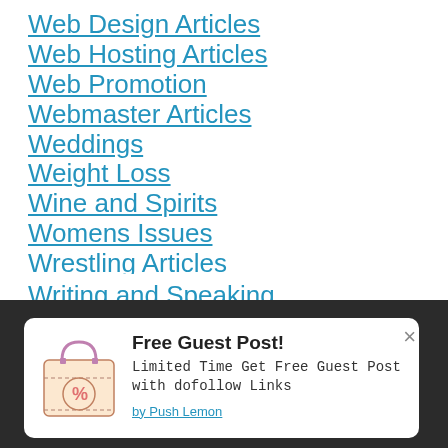Web Design Articles
Web Hosting Articles
Web Promotion
Webmaster Articles
Weddings
Weight Loss
Wine and Spirits
Womens Issues
Wrestling Articles
Writing and Speaking
[Figure (infographic): Free Guest Post popup notification with shopping bag icon showing a percentage sign. Text reads: 'Free Guest Post! Limited Time Get Free Guest Post with dofollow Links' with 'by Push Lemon' link below.]